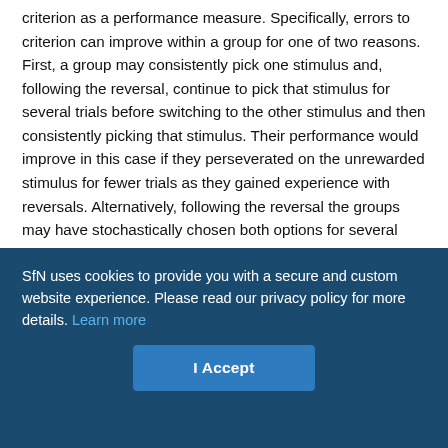criterion as a performance measure. Specifically, errors to criterion can improve within a group for one of two reasons. First, a group may consistently pick one stimulus and, following the reversal, continue to pick that stimulus for several trials before switching to the other stimulus and then consistently picking that stimulus. Their performance would improve in this case if they perseverated on the unrewarded stimulus for fewer trials as they gained experience with reversals. Alternatively, following the reversal the groups may have stochastically chosen both options for several trials, before choosing the currently rewarded stimulus more consistently. Simply examining average learning curves or errors to criterion cannot differentiate these possibilities. We show that the first strategy characterizes the behavior more accurately. Specifically, when we use the Bayesian
SfN uses cookies to provide you with a secure and custom website experience. Please read our privacy policy for more details. Learn more